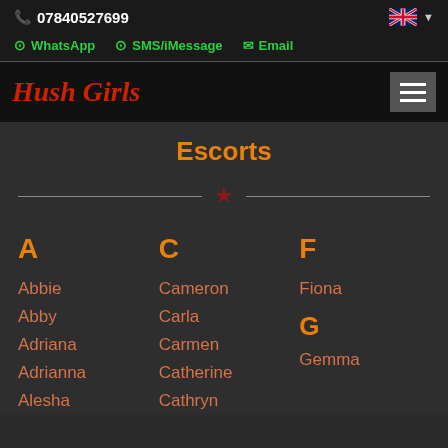📞 07840527699
⊙ WhatsApp  ⊙ SMS/iMessage  ✉ Email
Hush Girls
Escorts
A - Abbie, Abby, Adriana, Adrianna, Alesha
C - Cameron, Carla, Carmen, Catherine, Cathryn
F - Fiona
G - Gemma